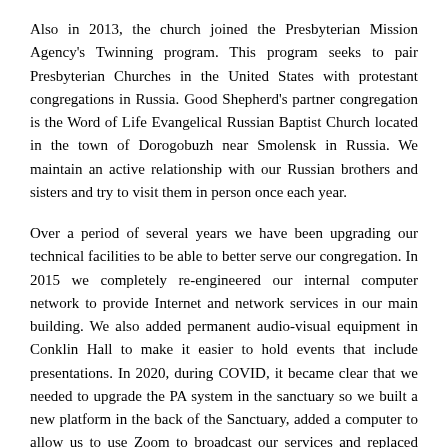Also in 2013, the church joined the Presbyterian Mission Agency's Twinning program. This program seeks to pair Presbyterian Churches in the United States with protestant congregations in Russia. Good Shepherd's partner congregation is the Word of Life Evangelical Russian Baptist Church located in the town of Dorogobuzh near Smolensk in Russia. We maintain an active relationship with our Russian brothers and sisters and try to visit them in person once each year.
Over a period of several years we have been upgrading our technical facilities to be able to better serve our congregation. In 2015 we completely re-engineered our internal computer network to provide Internet and network services in our main building. We also added permanent audio-visual equipment in Conklin Hall to make it easier to hold events that include presentations. In 2020, during COVID, it became clear that we needed to upgrade the PA system in the sanctuary so we built a new platform in the back of the Sanctuary, added a computer to allow us to use Zoom to broadcast our services and replaced most of the equipment in our 20 year old PA system. This allowed us to provide recorded and Zoom services during the pandemic.